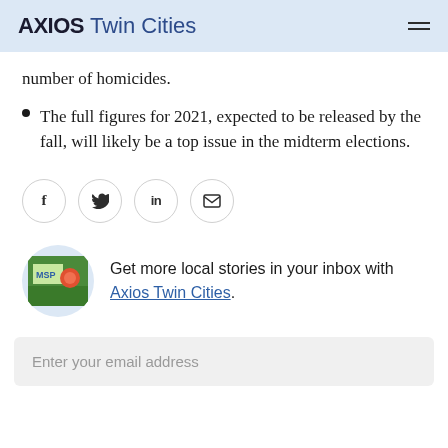AXIOS Twin Cities
number of homicides.
The full figures for 2021, expected to be released by the fall, will likely be a top issue in the midterm elections.
[Figure (other): Social share buttons: Facebook (f), Twitter (bird icon), LinkedIn (in), Email (envelope icon)]
[Figure (photo): Circular thumbnail image of MSP newsletter with Axios Twin Cities promo text: Get more local stories in your inbox with Axios Twin Cities.]
Enter your email address